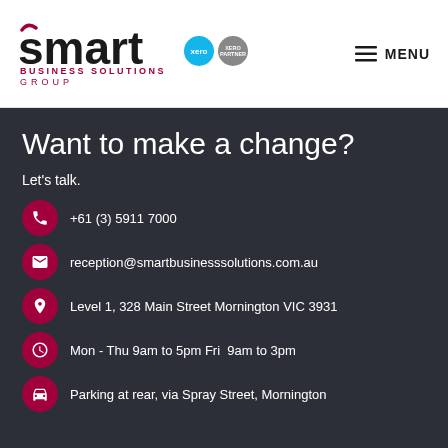[Figure (logo): Smart Business Solutions Group logo with Xero and partner badges]
MENU
Want to make a change?
Let's talk.
+61 (3) 5911 7000
reception@smartbusinesssolutions.com.au
Level 1, 328 Main Street Mornington VIC 3931
Mon - Thu 9am to 5pm Fri  9am to 3pm
Parking at rear, via Spray Street, Mornington